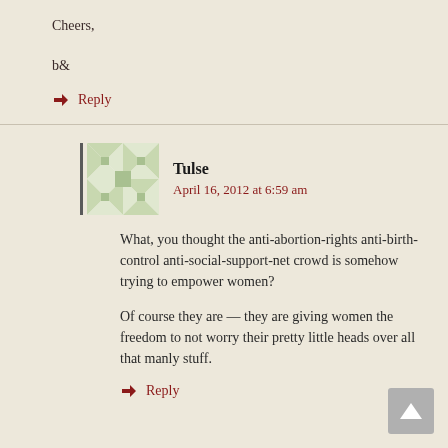Cheers,
b&
↪ Reply
Tulse
April 16, 2012 at 6:59 am
What, you thought the anti-abortion-rights anti-birth-control anti-social-support-net crowd is somehow trying to empower women?
Of course they are — they are giving women the freedom to not worry their pretty little heads over all that manly stuff.
↪ Reply